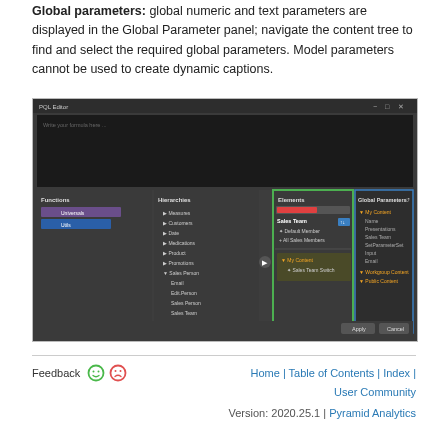Global parameters: global numeric and text parameters are displayed in the Global Parameter panel; navigate the content tree to find and select the required global parameters. Model parameters cannot be used to create dynamic captions.
[Figure (screenshot): Screenshot of PQL Editor showing Functions, Hierarchies, Elements, and Global Parameters panels. The Elements panel shows Sales Team members including Default Member and All Sales Members, and My Content with Sales Team Switch. The Global Parameters panel shows My Content with items like Name, Presentations, Sales Team, SetParameterSet, Input, Email, Workgroup Content, Public Content. Apply and Cancel buttons visible at bottom.]
Feedback 🙂 ☹  Home | Table of Contents | Index | User Community  Version: 2020.25.1 | Pyramid Analytics